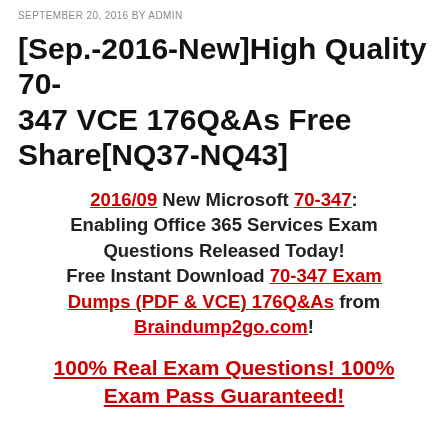SEPTEMBER 20, 2016 BY ADMIN
[Sep.-2016-New]High Quality 70-347 VCE 176Q&As Free Share[NQ37-NQ43]
2016/09 New Microsoft 70-347: Enabling Office 365 Services Exam Questions Released Today! Free Instant Download 70-347 Exam Dumps (PDF & VCE) 176Q&As from Braindump2go.com!
100% Real Exam Questions! 100% Exam Pass Guaranteed!